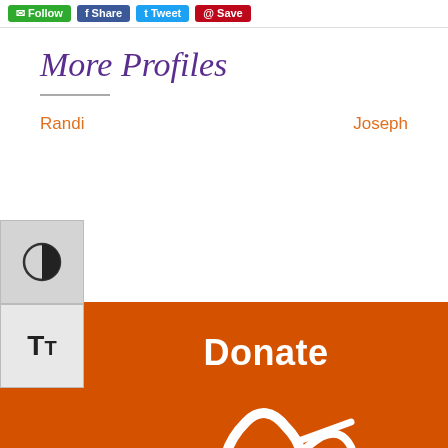Follow | Share | Tweet | Save
More Profiles
Randi | Joseph
[Figure (other): Contrast toggle accessibility button (half-circle icon)]
[Figure (other): Text size accessibility button (TT icon)]
Donate
[Figure (logo): White decorative script/logo on orange background, partially visible at bottom]